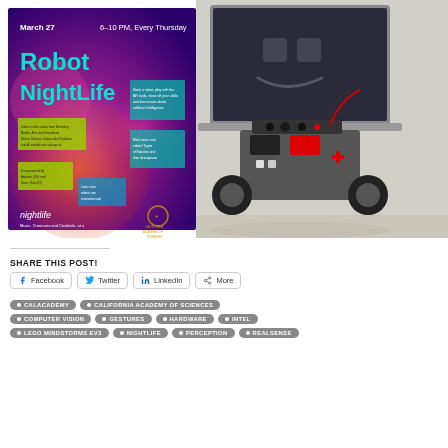[Figure (photo): Composite image: left side shows a 'Robot NightLife' event poster for California Academy of Sciences on March 27, 6-10PM every Thursday; right side shows a LEGO Mindstorms robot in front of a laptop displaying a smiley face.]
SHARE THIS POST!
Facebook
Twitter
LinkedIn
More
CALACADEMY
CALIFORNIA ACADEMY OF SCIENCES
COMPUTER VISION
GESTURES
HARDWARE
INTEL
LEGO MINDSTORMS EV3
NIGHTLIFE
PERCEPTION
REALSENSE